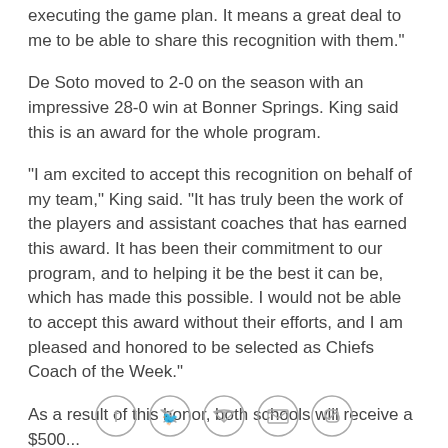executing the game plan. It means a great deal to me to be able to share this recognition with them."
De Soto moved to 2-0 on the season with an impressive 28-0 win at Bonner Springs. King said this is an award for the whole program.
"I am excited to accept this recognition on behalf of my team," King said. "It has truly been the work of the players and assistant coaches that has earned this award. It has been their commitment to our program, and to helping it be the best it can be, which has made this possible. I would not be able to accept this award without their efforts, and I am pleased and honored to be selected as Chiefs Coach of the Week."
As a result of this honor, both schools will receive a $500...Additionally, King will be presented...
[Figure (other): Social sharing icons: Facebook, Twitter, Email, Link]